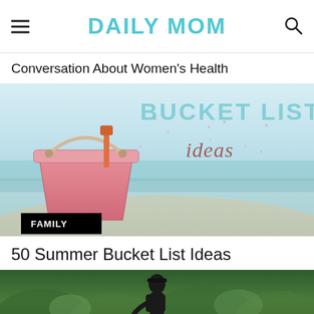DAILY MOM
Conversation About Women's Health
[Figure (photo): Pink beach bucket with rope handle on a beach background, overlaid with text reading 'BUCKET LIST ideas', with a FAMILY badge in the bottom-left corner]
50 Summer Bucket List Ideas
[Figure (photo): Person in dark clothing among tropical foliage/palm trees, partially visible at the bottom of the page]